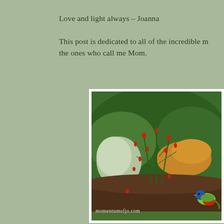Love and light always – Joanna
This post is dedicated to all of the incredible m… the ones who call me Mom.
[Figure (photo): Garden scene with green plants, red flowers, and a colorful painted bunting bird in the lower right. A cat is resting in the background. Watermark: momentumofjo.com]